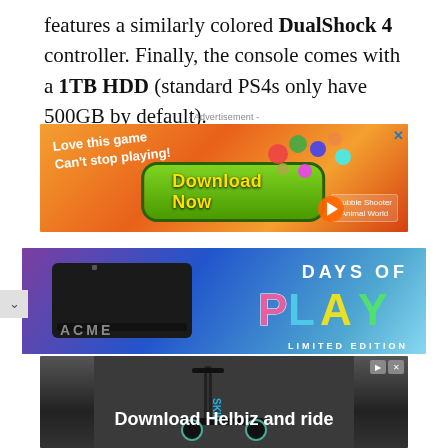features a similarly colored DualShock 4 controller. Finally, the console comes with a 1TB HDD (standard PS4s only have 500GB by default).
- Advertisement -
[Figure (other): Bubble Shooter Animal World game advertisement with orange background, 'Love this game Can't stop playing!' tagline, green Download Now button, and colorful game bubbles]
[Figure (other): PlayStation Days of Play Limited Edition advertisement showing a dark PS4 console on a purple-to-blue gradient background with 'DAYS OF PLAY LIMITED EDITION' text in multicolor]
[Figure (other): Helbiz electric scooter advertisement with dark background showing 'Download Helbiz and ride' text and a blue scooter]